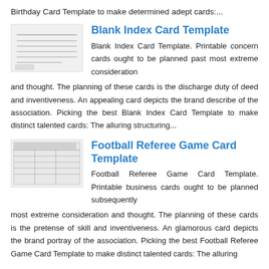Birthday Card Template to make determined adept cards:...
Blank Index Card Template
Blank Index Card Template. Printable concern cards ought to be planned past most extreme consideration and thought. The planning of these cards is the discharge duty of deed and inventiveness. An appealing card depicts the brand describe of the association. Picking the best Blank Index Card Template to make distinct talented cards: The alluring structuring...
Football Referee Game Card Template
Football Referee Game Card Template. Printable business cards ought to be planned subsequently most extreme consideration and thought. The planning of these cards is the pretense of skill and inventiveness. An glamorous card depicts the brand portray of the association. Picking the best Football Referee Game Card Template to make distinct talented cards: The alluring